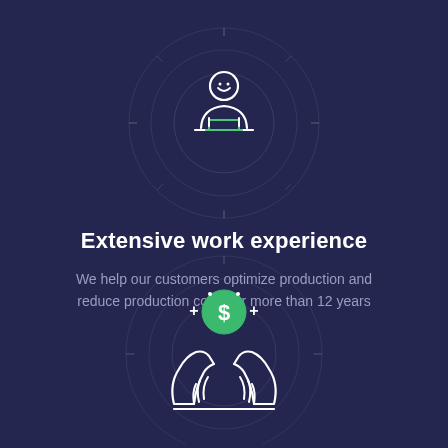[Figure (illustration): White outline icon of a person (worker/analyst) sitting at a desk with a laptop/computer, centered in concentric circle rings with decorative compass-like tick marks on a dark navy background]
Extensive work experience
We help our customers optimize production and reduce production costs for more than 12 years
[Figure (illustration): White outline icon of two hands holding up a green dollar coin with plus signs on either side, centered in concentric circle rings on a dark navy background]